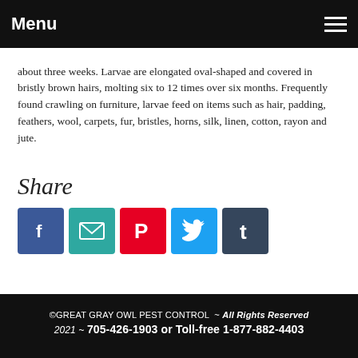Menu
about three weeks. Larvae are elongated oval-shaped and covered in bristly brown hairs, molting six to 12 times over six months. Frequently found crawling on furniture, larvae feed on items such as hair, padding, feathers, wool, carpets, fur, bristles, horns, silk, linen, cotton, rayon and jute.
Share
[Figure (infographic): Social media share buttons: Facebook, Email, Pinterest, Twitter, Tumblr]
©GREAT GRAY OWL PEST CONTROL ~ All Rights Reserved 2021 ~ 705-426-1903 or Toll-free 1-877-882-4403